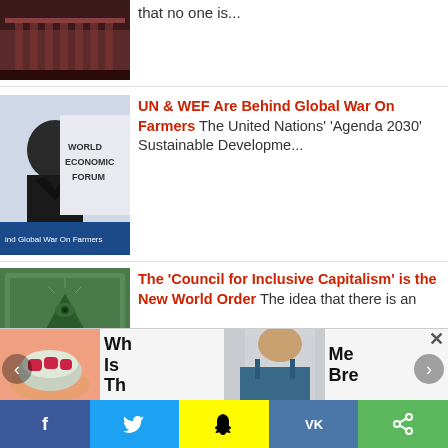that no one is...
[Figure (photo): Capitol building exterior, dark reddish tones]
[Figure (photo): Man at World Economic Forum event with banner reading 'ind Global War On Farmers']
UN & WEF Are Behind Global War On Farmers The United Nations' 'Agenda 2030' Sustainable Developme...
[Figure (photo): Close-up of US dollar bill showing pyramid with eye (Annuit Coeptis)]
The 'Council for Inclusive Capitalism' is the New World Order The idea that there is an
[Figure (photo): Hand holding red gummy candies in a bowl]
Wh Is Th
[Figure (photo): Woman in blue satin top, partial view]
Me Bre
f  [Twitter]  [Snapchat]  VK  [Share]